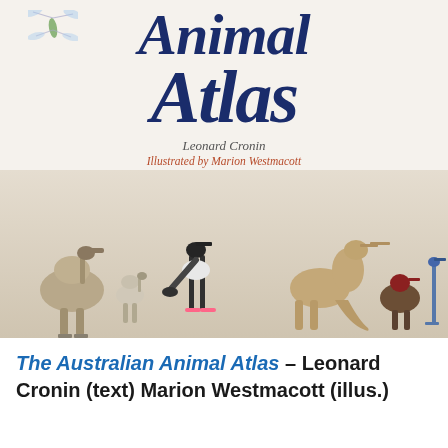[Figure (illustration): Book cover of 'The Australian Animal Atlas' showing large decorative title text 'Animal Atlas' in dark navy blue italic serif font, with the author name 'Leonard Cronin' and illustrator 'Illustrated by Marion Westmacott' below the title. A strip of Australian animals is shown along the bottom: emu, stork/crane with flamingo, kangaroo, and birds including what appears to be a turkey and heron.]
The Australian Animal Atlas – Leonard Cronin (text) Marion Westmacott (illus.)